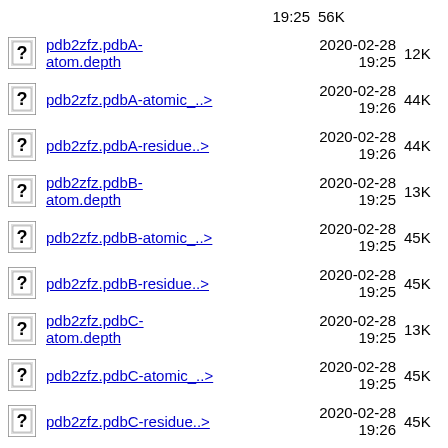pdb2zfz.pdb-consolidate  2020-02-28 19:25  56K
pdb2zfz.pdbA-atom.depth  2020-02-28 19:25  12K
pdb2zfz.pdbA-atomic_..>  2020-02-28 19:26  44K
pdb2zfz.pdbA-residue..>  2020-02-28 19:26  44K
pdb2zfz.pdbB-atom.depth  2020-02-28 19:25  13K
pdb2zfz.pdbB-atomic_..>  2020-02-28 19:25  45K
pdb2zfz.pdbB-residue..>  2020-02-28 19:25  45K
pdb2zfz.pdbC-atom.depth  2020-02-28 19:25  13K
pdb2zfz.pdbC-atomic_..>  2020-02-28 19:25  45K
pdb2zfz.pdbC-residue..>  2020-02-28 19:26  45K
pdb2zfz.pdbD-atom.depth  2020-02-28 19:25  13K
pdb2zfz.pdbD-atomic_..>  2020-02-28 19:25  45K